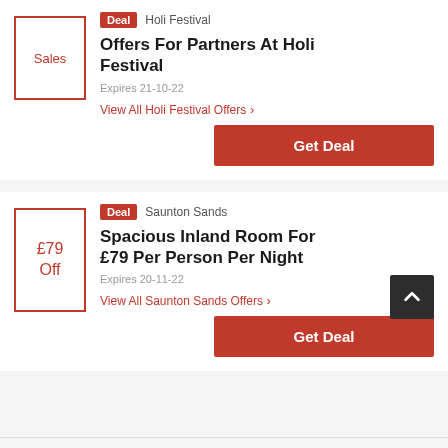Sales
Deal  Holi Festival
Offers For Partners At Holi Festival
Expires 21-10-22
View All Holi Festival Offers ›
Get Deal
£79 Off
Deal  Saunton Sands
Spacious Inland Room For £79 Per Person Per Night
Expires 20-11-22
View All Saunton Sands Offers ›
Get Deal